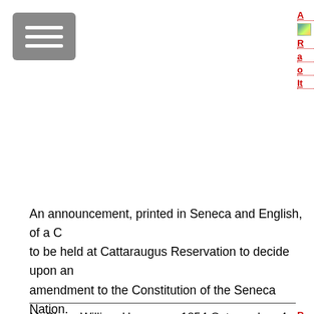[Figure (other): Navigation menu hamburger button (grey box with three white horizontal lines)]
An announcement, printed in Seneca and English, of a Council to be held at Cattaraugus Reservation to decide upon an amendment to the Constitution of the Seneca Nation.
| McClure, William H.. | 1854 Oct. | box 4 |
| ALS to Ely S. Parker | 27 |  |